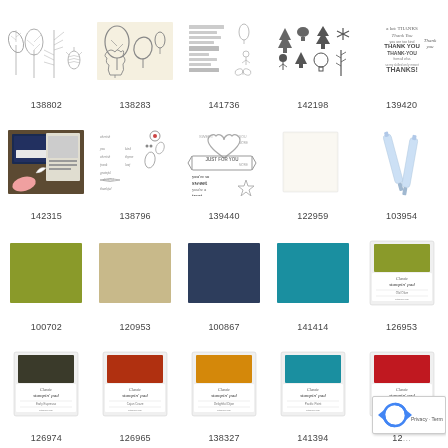[Figure (illustration): Stamp set with leaf and botanical illustrations]
[Figure (illustration): Stamp set with leaf die cut outlines]
[Figure (illustration): Stamp set with text sentiments]
[Figure (illustration): Stamp set with tree and nature icons]
[Figure (illustration): Stamp set with thank you text sentiments]
[Figure (photo): Greeting card set product photo]
[Figure (illustration): Stamp set with script and botanical elements]
[Figure (illustration): Stamp set with just for you and sweet treat sentiments]
[Figure (photo): White cardstock/notepad]
[Figure (photo): Blue aqua painter pens]
[Figure (photo): Old Olive cardstock color swatch]
[Figure (photo): Crumb Cake cardstock color swatch]
[Figure (photo): Night of Navy cardstock color swatch]
[Figure (photo): Pacific Point cardstock color swatch]
[Figure (photo): Old Olive Classic Stampin Pad ink pad]
[Figure (photo): Classic Stampin Pad ink pad dark olive/black]
[Figure (photo): Classic Stampin Pad ink pad rust/terracotta]
[Figure (photo): Classic Stampin Pad ink pad orange/mustard]
[Figure (photo): Classic Stampin Pad ink pad teal]
[Figure (photo): Classic Stampin Pad ink pad red (partially cropped)]